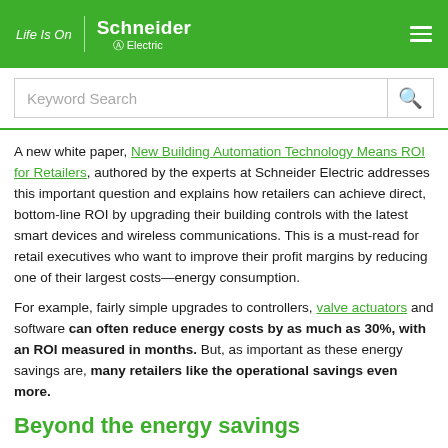Life Is On | Schneider Electric
Keyword Search
A new white paper, New Building Automation Technology Means ROI for Retailers, authored by the experts at Schneider Electric addresses this important question and explains how retailers can achieve direct, bottom-line ROI by upgrading their building controls with the latest smart devices and wireless communications. This is a must-read for retail executives who want to improve their profit margins by reducing one of their largest costs—energy consumption.
For example, fairly simple upgrades to controllers, valve actuators and software can often reduce energy costs by as much as 30%, with an ROI measured in months. But, as important as these energy savings are, many retailers like the operational savings even more.
Beyond the energy savings